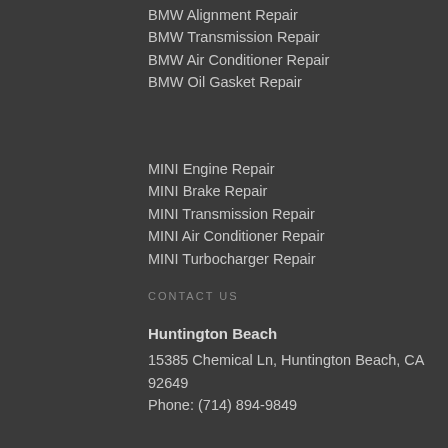BMW Alignment Repair
BMW Transmission Repair
BMW Air Conditioner Repair
BMW Oil Gasket Repair
MINI Engine Repair
MINI Brake Repair
MINI Transmission Repair
MINI Air Conditioner Repair
MINI Turbocharger Repair
CONTACT US
Huntington Beach
15385 Chemical Ln, Huntington Beach, CA 92649
Phone: (714) 894-9849